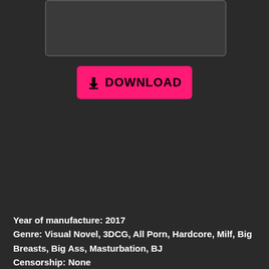[Figure (other): Dark rectangular image placeholder area with rounded border]
[Figure (other): Pink download button with download arrow icon and DOWNLOAD text]
Year of manufacture: 2017
Genre: Visual Novel, 3DCG, All Porn, Hardcore, Milf, Big Breasts, Big Ass, Masturbation, BJ
Censorship: None